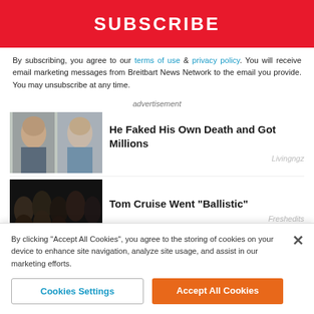[Figure (other): Red SUBSCRIBE button/banner]
By subscribing, you agree to our terms of use & privacy policy. You will receive email marketing messages from Breitbart News Network to the email you provide. You may unsubscribe at any time.
advertisement
[Figure (photo): Two mugshot-style photos of men side by side]
He Faked His Own Death and Got Millions
Livingngz
[Figure (photo): Group photo of young people in dark clothing]
Tom Cruise Went "Ballistic"
Freshedits
[Figure (photo): Two people, partial view, from TV show Designing Women]
Delta Burke From 'Designing Women' Has
By clicking “Accept All Cookies”, you agree to the storing of cookies on your device to enhance site navigation, analyze site usage, and assist in our marketing efforts.
Cookies Settings
Accept All Cookies